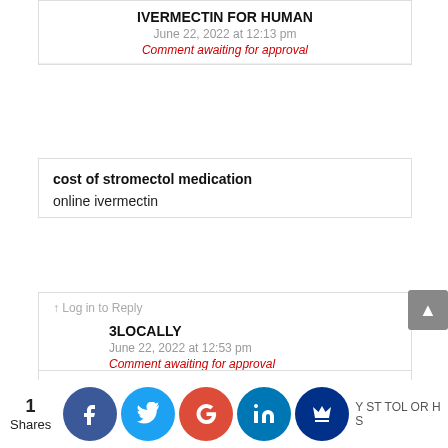IVERMECTIN FOR HUMAN
June 22, 2022 at 12:13 pm
Comment awaiting for approval
cost of stromectol medication
online ivermectin
Log in to Reply
3LOCALLY
June 22, 2022 at 12:53 pm
Comment awaiting for approval
1portion
Log in to Reply
1
Shares